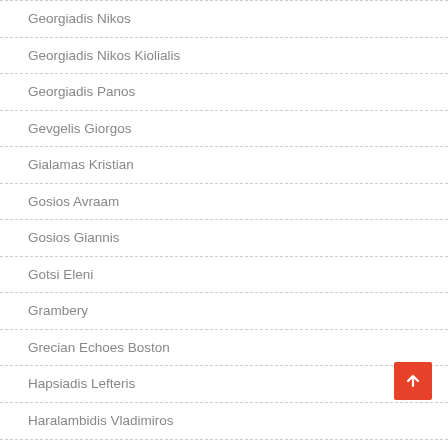Georgiadis Nikos
Georgiadis Nikos Kiolialis
Georgiadis Panos
Gevgelis Giorgos
Gialamas Kristian
Gosios Avraam
Gosios Giannis
Gotsi Eleni
Grambery
Grecian Echoes Boston
Hapsiadis Lefteris
Haralambidis Vladimiros